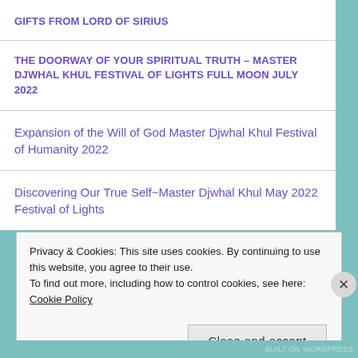GIFTS FROM LORD OF SIRIUS
THE DOORWAY OF YOUR SPIRITUAL TRUTH – MASTER DJWHAL KHUL FESTIVAL OF LIGHTS FULL MOON JULY 2022
Expansion of the Will of God Master Djwhal Khul Festival of Humanity 2022
Discovering Our True Self~Master Djwhal Khul May 2022 Festival of Lights
Privacy & Cookies: This site uses cookies. By continuing to use this website, you agree to their use.
To find out more, including how to control cookies, see here: Cookie Policy
Close and accept